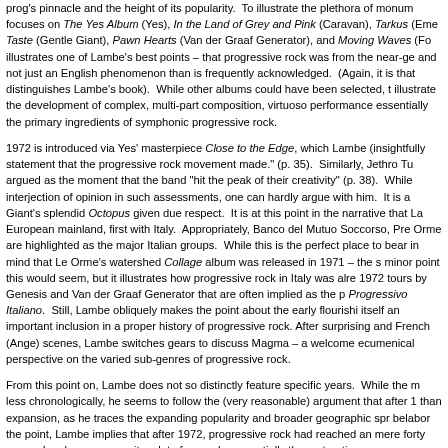prog's pinnacle and the height of its popularity. To illustrate the plethora of monuments focuses on The Yes Album (Yes), In the Land of Grey and Pink (Caravan), Tarkus (Eme Taste (Gentle Giant), Pawn Hearts (Van der Graaf Generator), and Moving Waves (Fo illustrates one of Lambe's best points – that progressive rock was from the near-ge and not just an English phenomenon than is frequently acknowledged. (Again, it is that distinguishes Lambe's book). While other albums could have been selected, t illustrate the development of complex, multi-part composition, virtuoso performance essentially the primary ingredients of symphonic progressive rock.
1972 is introduced via Yes' masterpiece Close to the Edge, which Lambe (insightfully statement that the progressive rock movement made." (p. 35). Similarly, Jethro Tu argued as the moment that the band "hit the peak of their creativity" (p. 38). While interjection of opinion in such assessments, one can hardly argue with him. It is a Giant's splendid Octopus given due respect. It is at this point in the narrative that La European mainland, first with Italy. Appropriately, Banco del Mutuo Soccorso, Pre Orme are highlighted as the major Italian groups. While this is the perfect place to bear in mind that Le Orme's watershed Collage album was released in 1971 – the s minor point this would seem, but it illustrates how progressive rock in Italy was alre 1972 tours by Genesis and Van der Graaf Generator that are often implied as the p Progressivo Italiano. Still, Lambe obliquely makes the point about the early flourishi itself an important inclusion in a proper history of progressive rock. After surprising and French (Ange) scenes, Lambe switches gears to discuss Magma – a welcome ecumenical perspective on the varied sub-genres of progressive rock.
From this point on, Lambe does not so distinctly feature specific years. While the m less chronologically, he seems to follow the (very reasonable) argument that after 1 than expansion, as he traces the expanding popularity and broader geographic spr belabor the point, Lambe implies that after 1972, progressive rock had reached an mere forty pages, Lambe surveys quite a lot of ground – essentially the maturation